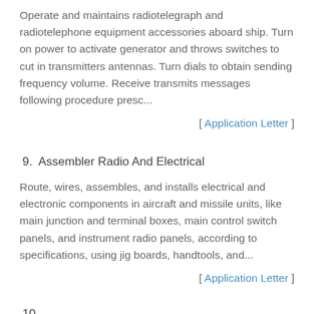Operate and maintains radiotelegraph and radiotelephone equipment accessories aboard ship. Turn on power to activate generator and throws switches to cut in transmitters antennas. Turn dials to obtain sending frequency volume. Receive transmits messages following procedure presc...
[ Application Letter ]
9.  Assembler Radio And Electrical
Route, wires, assembles, and installs electrical and electronic components in aircraft and missile units, like main junction and terminal boxes, main control switch panels, and instrument radio panels, according to specifications, using jig boards, handtools, and...
[ Application Letter ]
10.